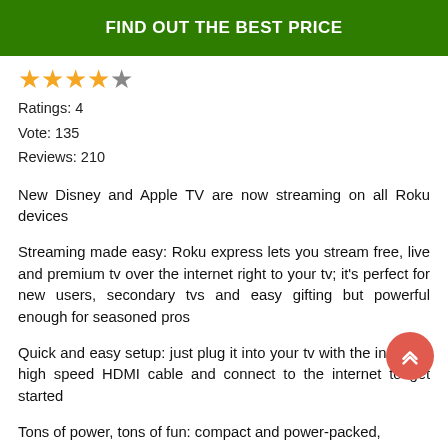FIND OUT THE BEST PRICE
★★★★☆
Ratings: 4
Vote: 135
Reviews: 210
New Disney and Apple TV are now streaming on all Roku devices
Streaming made easy: Roku express lets you stream free, live and premium tv over the internet right to your tv; it's perfect for new users, secondary tvs and easy gifting but powerful enough for seasoned pros
Quick and easy setup: just plug it into your tv with the included high speed HDMI cable and connect to the internet to get started
Tons of power, tons of fun: compact and power-packed,